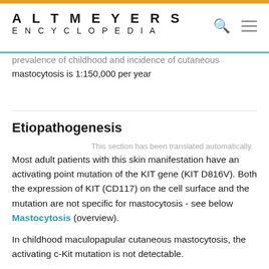ALTMEYERS ENCYCLOPEDIA
prevalence of childhood and incidence of cutaneous mastocytosis is 1:150,000 per year
Etiopathogenesis
This section has been translated automatically.
Most adult patients with this skin manifestation have an activating point mutation of the KIT gene (KIT D816V). Both the expression of KIT (CD117) on the cell surface and the mutation are not specific for mastocytosis - see below Mastocytosis (overview).
In childhood maculopapular cutaneous mastocytosis, the activating c-Kit mutation is not detectable.